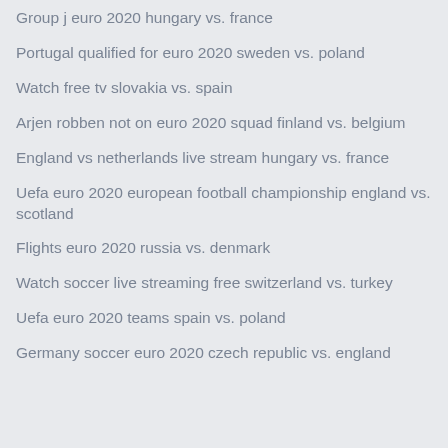Group j euro 2020 hungary vs. france
Portugal qualified for euro 2020 sweden vs. poland
Watch free tv slovakia vs. spain
Arjen robben not on euro 2020 squad finland vs. belgium
England vs netherlands live stream hungary vs. france
Uefa euro 2020 european football championship england vs. scotland
Flights euro 2020 russia vs. denmark
Watch soccer live streaming free switzerland vs. turkey
Uefa euro 2020 teams spain vs. poland
Germany soccer euro 2020 czech republic vs. england